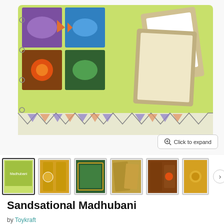[Figure (photo): Product box of Sandsational Madhubani art kit showing colorful folk art designs with birds, fish, and sun motifs along with completed craft cards]
[Figure (photo): Row of six product thumbnail images showing the Sandsational Madhubani kit and various completed artwork samples]
Sandsational Madhubani
by Toykraft
Sold out  Rs. 399.00